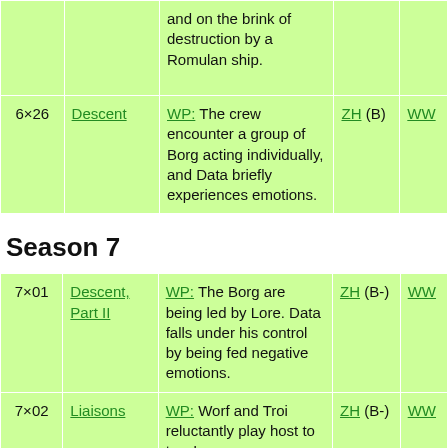|  | Title | Description | ZH | WW |
| --- | --- | --- | --- | --- |
|  |  | and on the brink of destruction by a Romulan ship. |  |  |
| 6×26 | Descent | WP: The crew encounter a group of Borg acting individually, and Data briefly experiences emotions. | ZH (B) | WW |
Season 7
|  | Title | Description | ZH | WW |
| --- | --- | --- | --- | --- |
| 7×01 | Descent, Part II | WP: The Borg are being led by Lore. Data falls under his control by being fed negative emotions. | ZH (B-) | WW |
| 7×02 | Liaisons | WP: Worf and Troi reluctantly play host to two Lyraan ambassadors, while Picard crashes in a shuttle with another | ZH (B-) | WW |